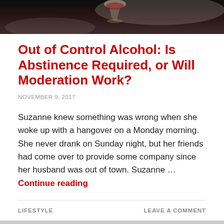[Figure (photo): Dark banner photo showing hands holding a wine glass, dark moody background]
Out of Control Alcohol: Is Abstinence Required, or Will Moderation Work?
NOVEMBER 9, 2017
Suzanne knew something was wrong when she woke up with a hangover on a Monday morning. She never drank on Sunday night, but her friends had come over to provide some company since her husband was out of town. Suzanne … Continue reading
LIFESTYLE    LEAVE A COMMENT